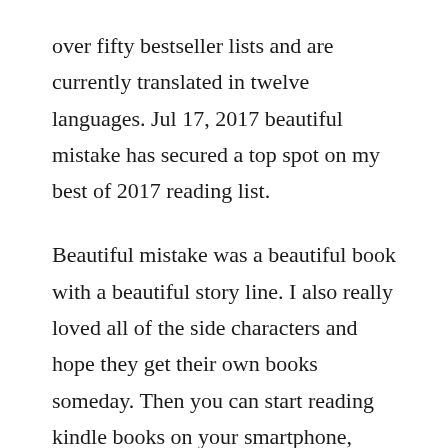over fifty bestseller lists and are currently translated in twelve languages. Jul 17, 2017 beautiful mistake has secured a top spot on my best of 2017 reading list.
Beautiful mistake was a beautiful book with a beautiful story line. I also really loved all of the side characters and hope they get their own books someday. Then you can start reading kindle books on your smartphone, tablet, or computer no kindle device required. Get your kindle here, or download a free kindle reading app. We have absolutely no